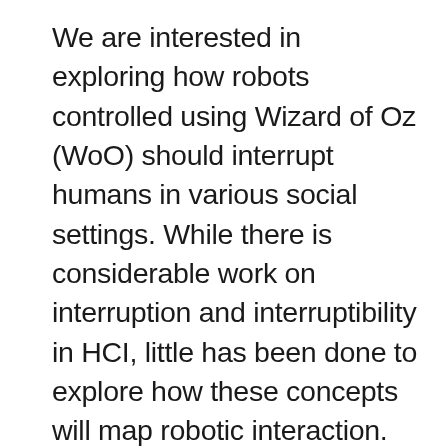We are interested in exploring how robots controlled using Wizard of Oz (WoO) should interrupt humans in various social settings. While there is considerable work on interruption and interruptibility in HCI, little has been done to explore how these concepts will map robotic interaction. As part of our efforts to investigate interruption and interruptibility in HRI we used WoO-based methodology to investigate robot behaviours in a simple interruption scenario. In this report we contribute a design critique that discusses this methodology, and common concerns that could be generalized to other social HRI